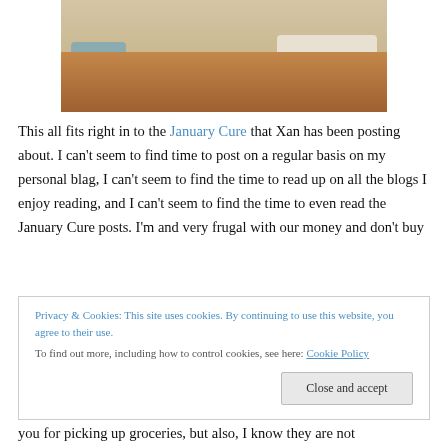[Figure (photo): A living room interior with hardwood floors, a dark wood coffee table, a round area rug, a light-colored couch, and blue-gray chairs.]
This all fits right in to the January Cure that Xan has been posting about. I can't seem to find time to post on a regular basis on my personal blag, I can't seem to find the time to read up on all the blogs I enjoy reading, and I can't seem to find the time to even read the January Cure posts. I'm and very frugal with our money and don't buy
Privacy & Cookies: This site uses cookies. By continuing to use this website, you agree to their use.
To find out more, including how to control cookies, see here: Cookie Policy
Close and accept
you for picking up groceries, but also, I know they are not